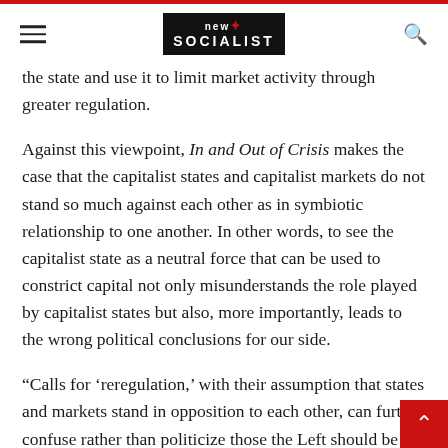new socialist [logo]
the state and use it to limit market activity through greater regulation.
Against this viewpoint, In and Out of Crisis makes the case that the capitalist states and capitalist markets do not stand so much against each other as in symbiotic relationship to one another. In other words, to see the capitalist state as a neutral force that can be used to constrict capital not only misunderstands the role played by capitalist states but also, more importantly, leads to the wrong political conclusions for our side.
“Calls for ‘reregulation,’ with their assumption that states and markets stand in opposition to each other, can further confuse rather than politicize those the Left should be trying to mobilize. As the most recent state intervention